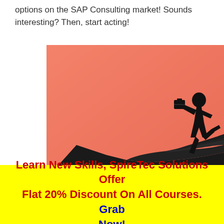options on the SAP Consulting market! Sounds interesting? Then, start acting!
[Figure (illustration): Silhouette illustration on a coral/salmon background showing a large open hand (forearm and hand in black silhouette) with a small running businessperson silhouette (carrying a briefcase) leaping off the fingertips, suggesting a launching or opportunity concept.]
Learn New Skills, SpireTec Solutions Offer Flat 20% Discount On All Courses. Grab Now!